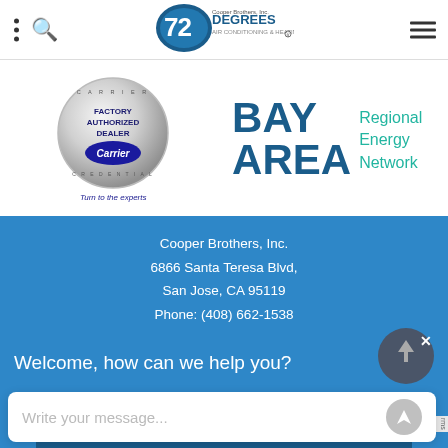72 Degrees Air Conditioning & Heating - Cooper Brothers, Inc.
[Figure (logo): Carrier Factory Authorized Dealer badge with silver coin design and tagline 'Turn to the experts']
[Figure (logo): Bay Area Regional Energy Network logo with large bold BAY AREA text in dark blue and Regional Energy Network in teal]
Cooper Brothers, Inc.
6866 Santa Teresa Blvd,
San Jose, CA 95119
Phone: (408) 662-1538
Welcome, how can we help you?
Write your message...
FREE ESTIMATE